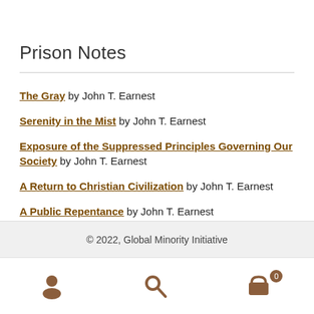Prison Notes
The Gray by John T. Earnest
Serenity in the Mist by John T. Earnest
Exposure of the Suppressed Principles Governing Our Society by John T. Earnest
A Return to Christian Civilization by John T. Earnest
A Public Repentance by John T. Earnest
© 2022, Global Minority Initiative